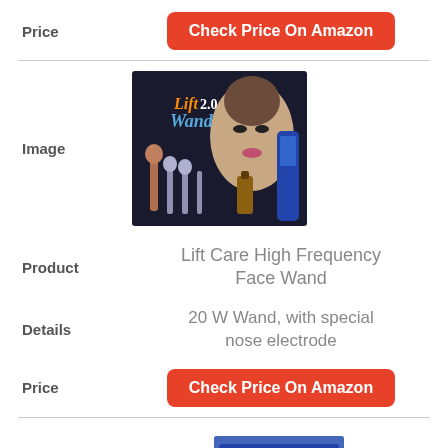| Field | Value |
| --- | --- |
| Price | Check Price On Amazon |
| Image | [Lift Care High Frequency Face Wand product image] |
| Product | Lift Care High Frequency Face Wand |
| Details | 20 W Wand, with special nose electrode |
| Price | Check Price On Amazon |
[Figure (photo): Lift Care High Frequency Face Wand product package showing wand accessories and a woman's face]
[Figure (photo): Partial view of another product at the bottom of the page]